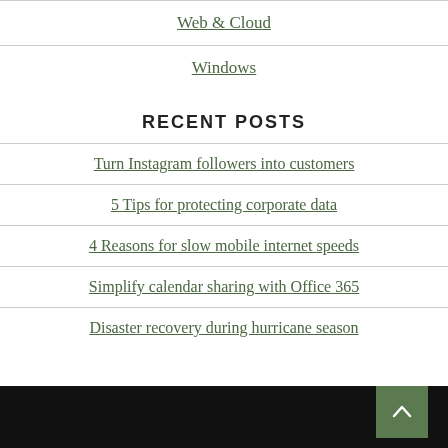Web & Cloud
Windows
RECENT POSTS
Turn Instagram followers into customers
5 Tips for protecting corporate data
4 Reasons for slow mobile internet speeds
Simplify calendar sharing with Office 365
Disaster recovery during hurricane season